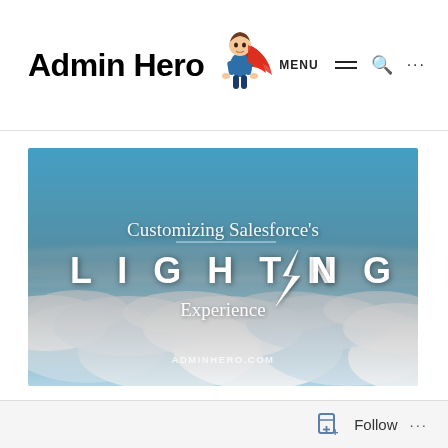Admin Hero [logo with superhero character]
MENU ☰ 🔍 ...
[Figure (illustration): Hero banner image showing aerial view of clouds with blue sky. Text overlay reads: 'Customizing Salesforce's LIGHTNING Experience' with AdminHero.com watermark at bottom.]
Follow ...